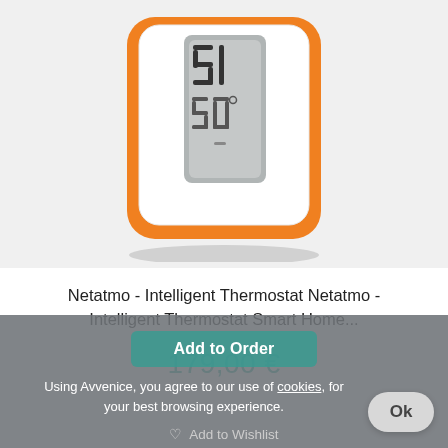[Figure (photo): Netatmo intelligent thermostat product photo - white device with orange border showing digital display with '21' and '20°' temperature readings]
Netatmo - Intelligent Thermostat Netatmo - Intelligent Thermostat Smart Home...
179,00 €
Add to Order
Using Avvenice, you agree to our use of cookies, for your best browsing experience.
Add to Wishlist